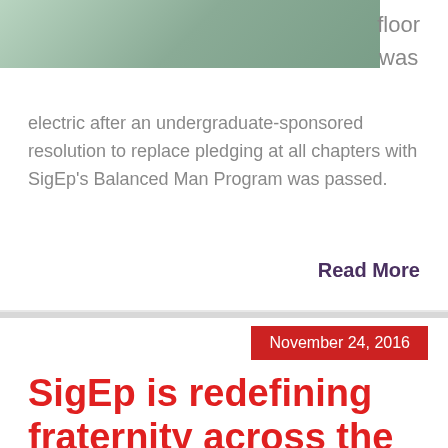[Figure (photo): Photo of people at an event, partially cropped at top of page]
floor was electric after an undergraduate-sponsored resolution to replace pledging at all chapters with SigEp's Balanced Man Program was passed.
Read More
November 24, 2016
SigEp is redefining fraternity across the country